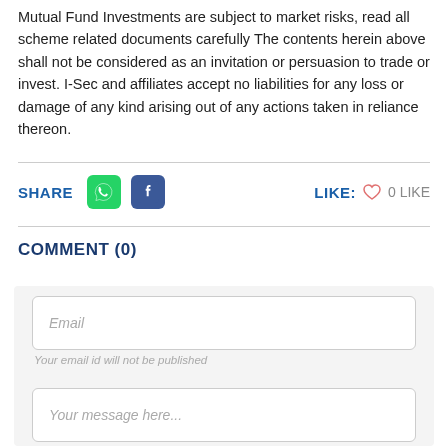Mutual Fund Investments are subject to market risks, read all scheme related documents carefully The contents herein above shall not be considered as an invitation or persuasion to trade or invest. I-Sec and affiliates accept no liabilities for any loss or damage of any kind arising out of any actions taken in reliance thereon.
SHARE  LIKE: 0 LIKE
COMMENT (0)
Email
Your email id will not be published
Your message here...